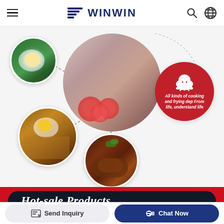WINWIN — navigation header with hamburger menu, logo, search and globe icons
[Figure (illustration): Marketing hero section with circular food photos (fried egg with greens, fried rice, braised pork) connected by dashed lines, a large blurred center circle with food, and a red circle with chef hat icon and text 'All kinds of cooking and frying dep From life, understand life']
Hot-sale Products
Send Inquiry | Chat Now